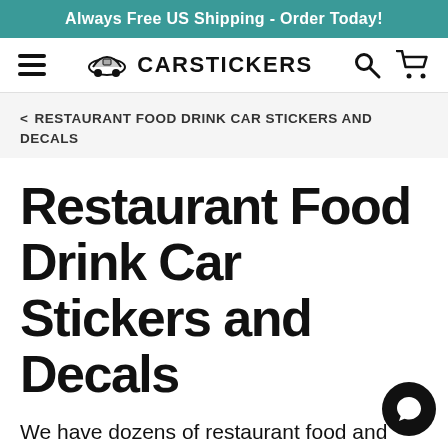Always Free US Shipping - Order Today!
[Figure (logo): CarStickers logo with car illustration and text CARSTICKERS, navigation icons including hamburger menu, search, and cart]
< RESTAURANT FOOD DRINK CAR STICKERS AND DECALS
Restaurant Food Drink Car Stickers and Decals
We have dozens of restaurant food and drink stickers and decals available to choose from.